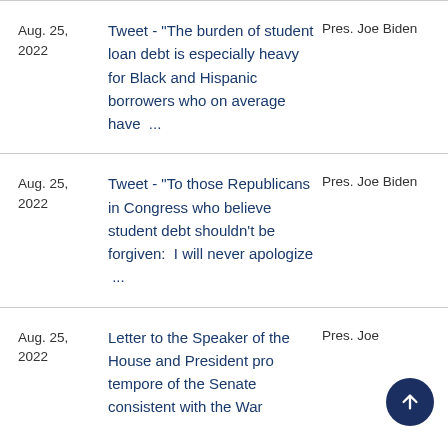Aug. 25, 2022 | Tweet - "The burden of student loan debt is especially heavy for Black and Hispanic borrowers who on average have ..." | Pres. Joe Biden
Aug. 25, 2022 | Tweet - "To those Republicans in Congress who believe student debt shouldn't be forgiven:  I will never apologize ..." | Pres. Joe Biden
Aug. 25, 2022 | Letter to the Speaker of the House and President pro tempore of the Senate consistent with the War... | Pres. Joe Biden